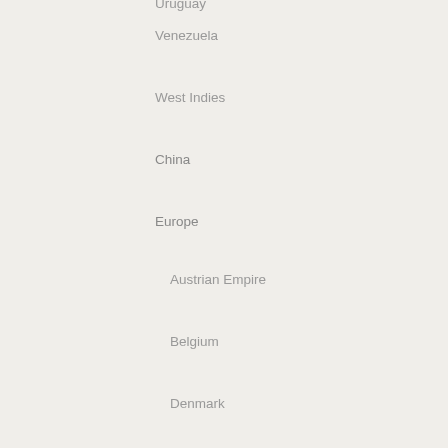Uruguay
Venezuela
West Indies
China
Europe
Austrian Empire
Belgium
Denmark
Eastern Europe
France
Germany
Greece
Holland
Hungary
Ireland
Italy
Netherlands
Norway